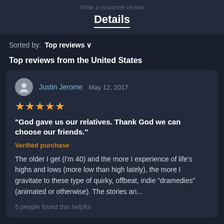Write a customer review
Details
Sorted by:  Top reviews ∨
Top reviews from the United States
Justin Jerome  May 12, 2017
★★★★★
"God gave us our relatives. Thank God we can choose our friends."
Verified purchase
The older I get (I'm 40) and the more I experience of life's highs and lows (more low than high lately), the more I gravitate to these type of quirky, offbeat, indie "dramedies" (animated or otherwise). The stories an...
5 people found this helpful